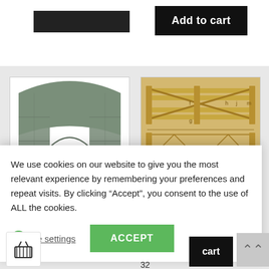[Figure (screenshot): Black 'Add to cart' button at top right of page]
[Figure (photo): Model railway tunnel portal made of grey stone/brick material]
[Figure (photo): Laser-cut wooden assorted gates kit pieces laid flat on a surface]
Assorted gates
32
We use cookies on our website to give you the most relevant experience by remembering your preferences and repeat visits. By clicking “Accept”, you consent to the use of ALL the cookies.
(1) Cookie settings
ACCEPT
cart